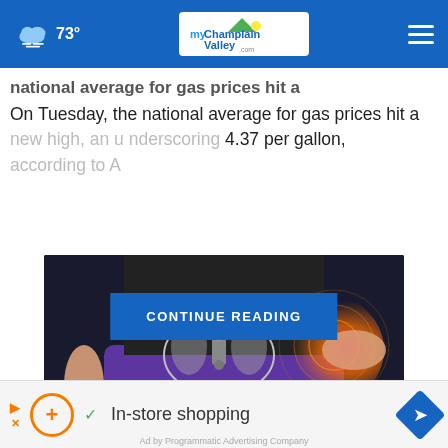73° myChamplainValley.com
...national average for gas prices hit a new high, an u... .37 per gallon, according to A...
On Tuesday, the national average for gas prices hit a new high, an u... .37 per gallon, according to A...
[Figure (photo): Medical illustration of a pelvis with highlighted hip area showing pain, person wearing black shirt and purple pants, with a close button overlay]
[Figure (infographic): Bottom ad banner: play button, orange circle-plus icon, green checkmark, 'In-store shopping' text, blue navigation diamond icon]